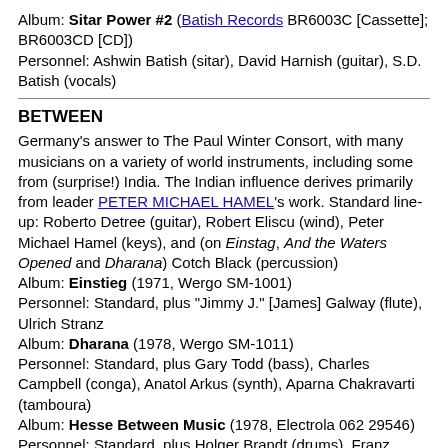Album: Sitar Power #2 (Batish Records BR6003C [Cassette]; BR6003CD [CD])
Personnel: Ashwin Batish (sitar), David Harnish (guitar), S.D. Batish (vocals)
BETWEEN
Germany's answer to The Paul Winter Consort, with many musicians on a variety of world instruments, including some from (surprise!) India. The Indian influence derives primarily from leader PETER MICHAEL HAMEL's work. Standard line-up: Roberto Detree (guitar), Robert Eliscu (wind), Peter Michael Hamel (keys), and (on Einstag, And the Waters Opened and Dharana) Cotch Black (percussion)
Album: Einstieg (1971, Wergo SM-1001)
Personnel: Standard, plus "Jimmy J." [James] Galway (flute), Ulrich Stranz
Album: Dharana (1978, Wergo SM-1011)
Personnel: Standard, plus Gary Todd (bass), Charles Campbell (conga), Anatol Arkus (synth), Aparna Chakravarti (tamboura)
Album: Hesse Between Music (1978, Electrola 062 29546)
Personnel: Standard, plus Holger Brandt (drums), Franz Lehrndorfer (keys), Peter Muller, Tom van der Geld